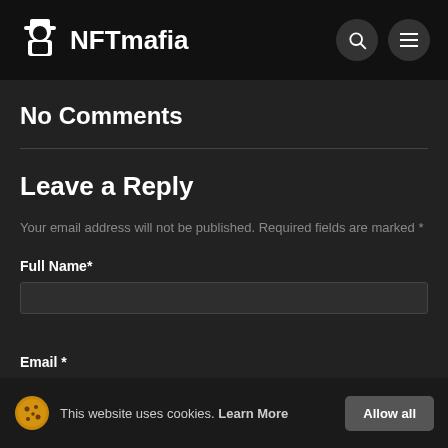[Figure (logo): NFTmafia logo with mafia character icon and site name in white bold text on black header bar]
No Comments
Leave a Reply
Your email address will not be published. Required fields are marked *
Full Name*
Email *
This website uses cookies. Learn More Allow all